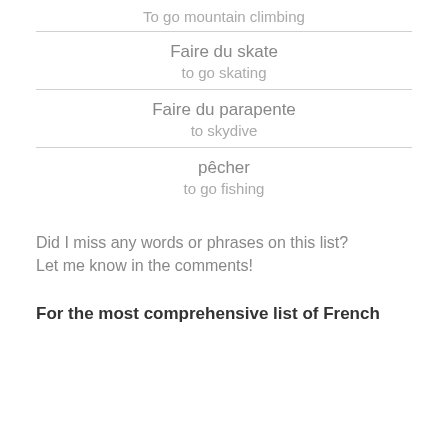To go mountain climbing
Faire du skate
to go skating
Faire du parapente
to skydive
pêcher
to go fishing
Did I miss any words or phrases on this list? Let me know in the comments!
For the most comprehensive list of French